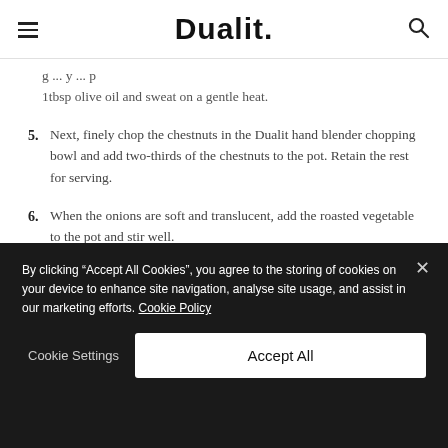Dualit.
g ... 1tbsp olive oil and sweat on a gentle heat.
5. Next, finely chop the chestnuts in the Dualit hand blender chopping bowl and add two-thirds of the chestnuts to the pot. Retain the rest for serving.
6. When the onions are soft and translucent, add the roasted vegetable to the pot and stir well.
7. Add the hot stock to the pot and simmer for 20 minutes on
By clicking "Accept All Cookies", you agree to the storing of cookies on your device to enhance site navigation, analyse site usage, and assist in our marketing efforts. Cookie Policy
Cookie Settings   Accept All